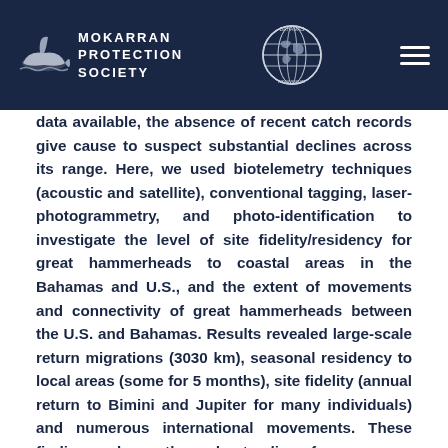Mokarran Protection Society
data available, the absence of recent catch records give cause to suspect substantial declines across its range. Here, we used biotelemetry techniques (acoustic and satellite), conventional tagging, laser-photogrammetry, and photo-identification to investigate the level of site fidelity/residency for great hammerheads to coastal areas in the Bahamas and U.S., and the extent of movements and connectivity of great hammerheads between the U.S. and Bahamas. Results revealed large-scale return migrations (3030 km), seasonal residency to local areas (some for 5 months), site fidelity (annual return to Bimini and Jupiter for many individuals) and numerous international movements. These findings enhance the understanding of